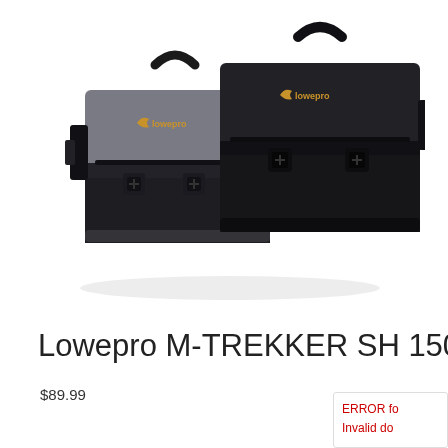[Figure (photo): Two Lowepro M-TREKKER SH 150 camera messenger bags side by side — left bag in gray/charcoal heathered fabric with black accents and Lowepro logo, right bag in all-black with Lowepro logo, both showing shoulder straps and buckle closures on white background]
Lowepro M-TREKKER SH 150
$89.99
ERROR fo Invalid do